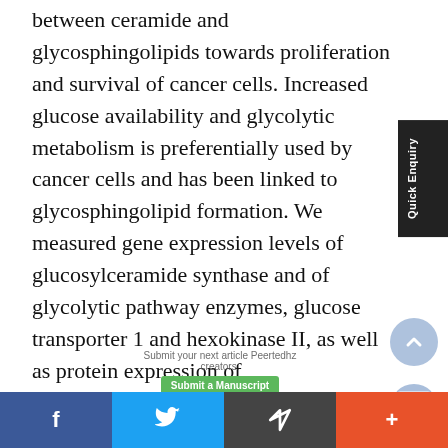between ceramide and glycosphingolipids towards proliferation and survival of cancer cells. Increased glucose availability and glycolytic metabolism is preferentially used by cancer cells and has been linked to glycosphingolipid formation. We measured gene expression levels of glucosylceramide synthase and of glycolytic pathway enzymes, glucose transporter 1 and hexokinase II, as well as protein expression of glucosylceramide synthase, on trephine biopsy samples from 13 patients with
Quick Enquiry
f  [twitter bird]  [share icon]  +